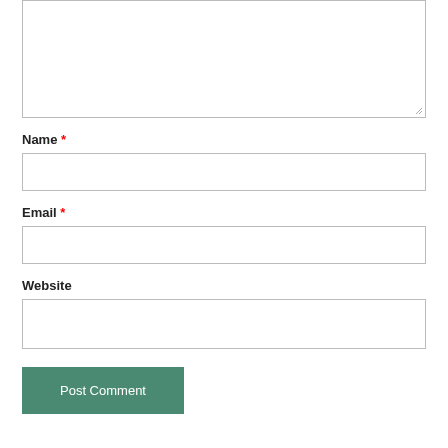[Figure (screenshot): Textarea input box (comment field) partially visible at the top of the page with a resize handle in the bottom-right corner.]
Name *
[Figure (screenshot): Single-line text input box for Name field.]
Email *
[Figure (screenshot): Single-line text input box for Email field.]
Website
[Figure (screenshot): Single-line text input box for Website field.]
Post Comment